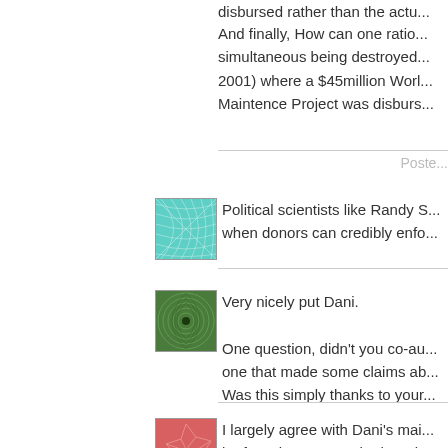disbursed rather than the actu...
And finally, How can one ratio... simultaneous being destroyed... 2001) where a $45million Worl... Maintence Project was disburs...
Poste...
[Figure (illustration): Teal/turquoise colored avatar with geometric grid/lens pattern]
Political scientists like Randy S... when donors can credibly enfo...
[Figure (illustration): Green colored avatar with spiral/swirl pattern]
Very nicely put Dani.
One question, didn't you co-au... one that made some claims ab... Was this simply thanks to your...
[Figure (illustration): Red/pink colored avatar with cracked/fragmented pattern]
I largely agree with Dani's mai... be focusing not on whether ai...